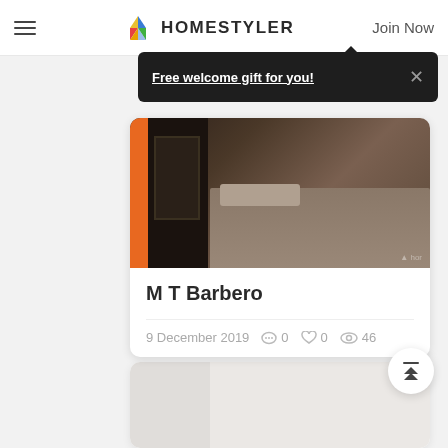HOMESTYLER  Join Now
Free welcome gift for you!
[Figure (photo): Interior bedroom render shown in a card with an orange side stripe]
M T Barbero
9 December 2019   0   0   46
[Figure (photo): Second card partially visible at bottom, light gray loading placeholder]